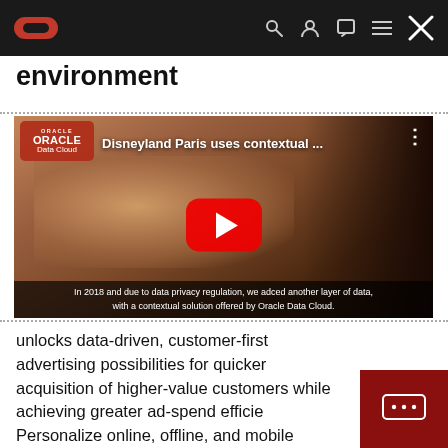environment
[Figure (screenshot): YouTube video thumbnail showing Disneyland Paris Oracle Data Cloud video. Title reads 'Disneyland Paris uses contextual ...' with subtitle: 'In 2018 and due to data privacy regulation, we adced another layer of data, with a contextual solution offered by Oracle Data Cloud.']
unlocks data-driven, customer-first advertising possibilities for quicker acquisition of higher-value customers while achieving greater ad-spend efficiency. Personalize online, offline, and mobile marketing campaigns with richer data sets about relevant audiences with both scale and accuracy.